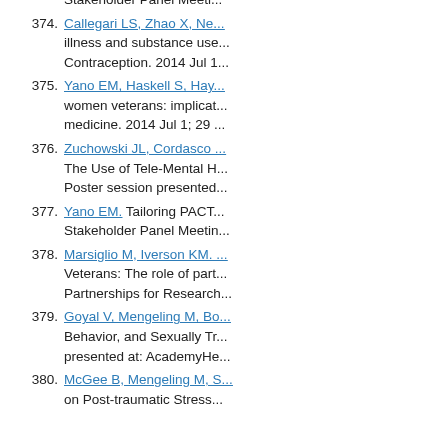Stakeholder Panel Meeti...
374. Callegari LS, Zhao X, Ne... illness and substance use... Contraception. 2014 Jul 1...
375. Yano EM, Haskell S, Hay... women veterans: implicat... medicine. 2014 Jul 1; 29 ...
376. Zuchowski JL, Cordasco... The Use of Tele-Mental H... Poster session presented...
377. Yano EM. Tailoring PACT... Stakeholder Panel Meetin...
378. Marsiglio M, Iverson KM.... Veterans: The role of part... Partnerships for Research...
379. Goyal V, Mengeling M, Bo... Behavior, and Sexually Tr... presented at: AcademyHe...
380. McGee B, Mengeling M, S... on Post-traumatic Stress...